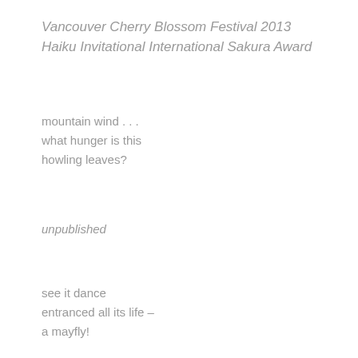Vancouver Cherry Blossom Festival 2013 Haiku Invitational International Sakura Award
mountain wind . . .
what hunger is this
howling leaves?
unpublished
see it dance
entranced all its life –
a mayfly!
unpublished
down